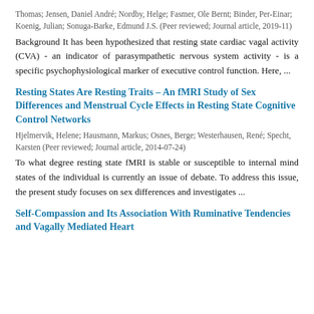Thomas; Jensen, Daniel André; Nordby, Helge; Fasmer, Ole Bernt; Binder, Per-Einar; Koenig, Julian; Sonuga-Barke, Edmund J.S. (Peer reviewed; Journal article, 2019-11)
Background It has been hypothesized that resting state cardiac vagal activity (CVA) - an indicator of parasympathetic nervous system activity - is a specific psychophysiological marker of executive control function. Here, ...
Resting States Are Resting Traits – An fMRI Study of Sex Differences and Menstrual Cycle Effects in Resting State Cognitive Control Networks
Hjelmervik, Helene; Hausmann, Markus; Osnes, Berge; Westerhausen, René; Specht, Karsten (Peer reviewed; Journal article, 2014-07-24)
To what degree resting state fMRI is stable or susceptible to internal mind states of the individual is currently an issue of debate. To address this issue, the present study focuses on sex differences and investigates ...
Self-Compassion and Its Association With Ruminative Tendencies and Vagally Mediated Heart